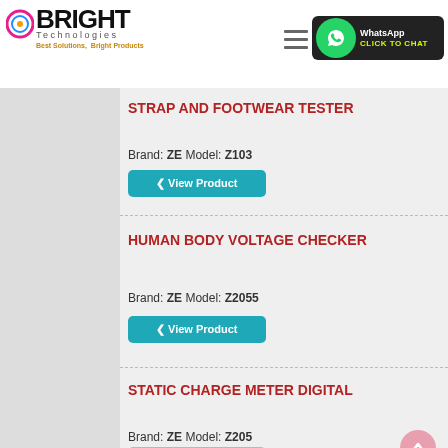[Figure (logo): Bright Technologies logo with colorful icon, bold BRIGHT text, Technologies tagline, and Best Solutions, Bright Products slogan]
[Figure (screenshot): Hamburger menu icon (three horizontal lines)]
[Figure (screenshot): WhatsApp Click to Chat button with green phone icon on dark background]
STRAP and FOOTWEAR TESTER
Brand: ZE Model: Z103
View Product
HUMAN BODY VOLTAGE CHECKER
Brand: ZE Model: Z2055
View Product
STATIC CHARGE METER DIGITAL
Brand: ZE Model: Z205